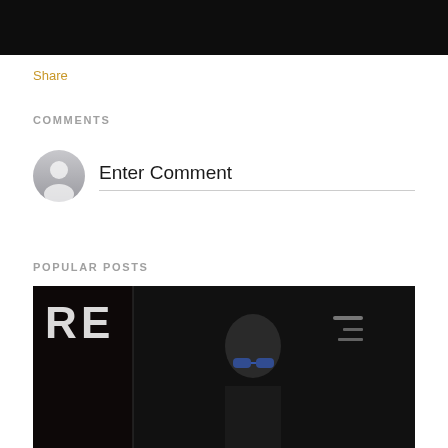[Figure (photo): Dark background photo, top portion of a previous image showing figures in dark clothing]
Share
COMMENTS
[Figure (illustration): Default user avatar icon — grey circle with silhouette of a person]
Enter Comment
POPULAR POSTS
[Figure (photo): Dark photo showing a person wearing blue-framed glasses, with partial text 'RE' visible on the left side]